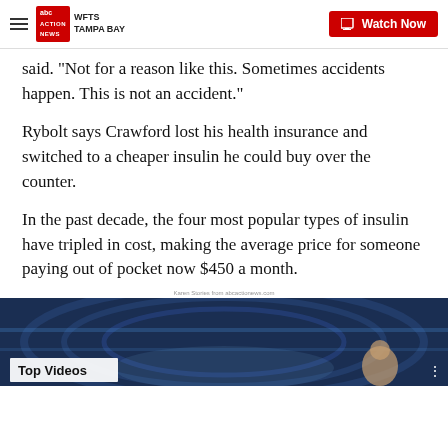WFTS Tampa Bay | ABC Action News — Watch Now
said. "Not for a reason like this. Sometimes accidents happen. This is not an accident."
Rybolt says Crawford lost his health insurance and switched to a cheaper insulin he could buy over the counter.
In the past decade, the four most popular types of insulin have tripled in cost, making the average price for someone paying out of pocket now $450 a month.
Karen Stories from abcactionews.com
[Figure (screenshot): Video thumbnail showing interior of sports arena with 'Top Videos' label overlay]